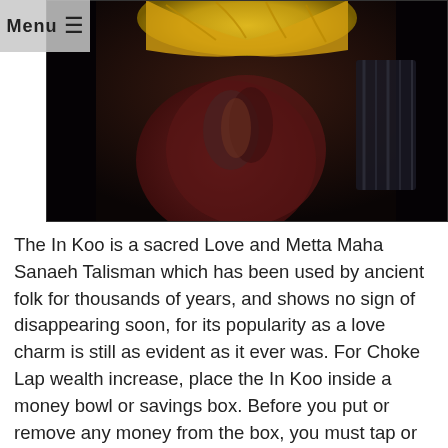Menu ≡
[Figure (photo): Dark photograph showing a monk or person in robes with hands clasped in prayer, with golden fabric visible in the upper portion and reflective surfaces in the background.]
The In Koo is a sacred Love and Metta Maha Sanaeh Talisman which has been used by ancient folk for thousands of years, and shows no sign of disappearing soon, for its popularity as a love charm is still as evident as it ever was. For Choke Lap wealth increase, place the In Koo inside a money bowl or savings box. Before you put or remove any money from the box, you must tap or knock on the side of the container with the same hand you shall be using to remove or place